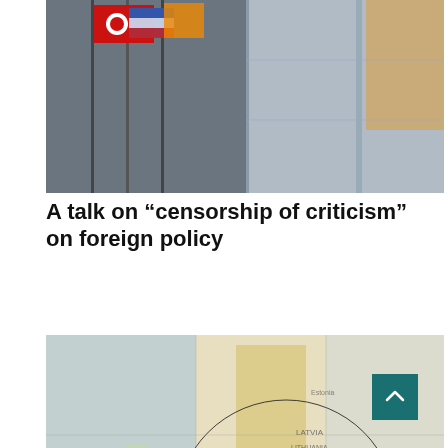[Figure (photo): Photo of flags including a red flag with a white circle/cross design, mounted on a building facade with grey stone/metal panels]
A talk on “censorship of criticism” on foreign policy
[Figure (photo): Photo of a magnifying glass placed over a map of Europe, focusing on Poland and surrounding countries including Germany, Belarus, Latvia, Lithuania; parts of Russia visible in background]
Experts see a dangerous move by Brussels on sanctions: they wonder if there will be more of them?
[Figure (photo): Partial photo of a dark grey blurred background, bottom of page, content cut off]